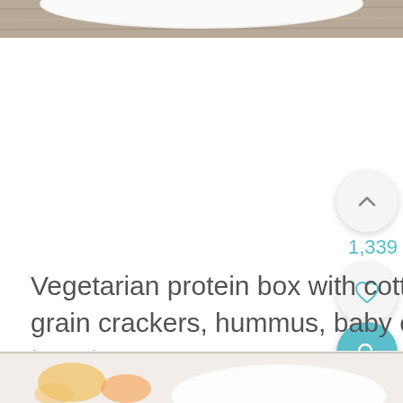[Figure (photo): Top portion of a food photo showing a white bowl on a wooden surface, cropped at top of page]
Vegetarian protein box with cottage cheese, strawberries, whole grain crackers, hummus, baby carrots, celery, and grape tomatoes
[Figure (photo): Bottom portion showing a food photo with colorful ingredients on a light surface, cropped at bottom of page]